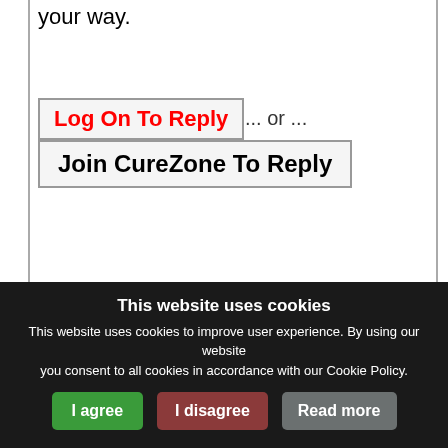your way.
Log On To Reply ... or ...
Join CureZone To Reply
All of my messges on this board    All of my messges anywhere
This website uses cookies
This website uses cookies to improve user experience. By using our website you consent to all cookies in accordance with our Cookie Policy.
I agree
I disagree
Read more